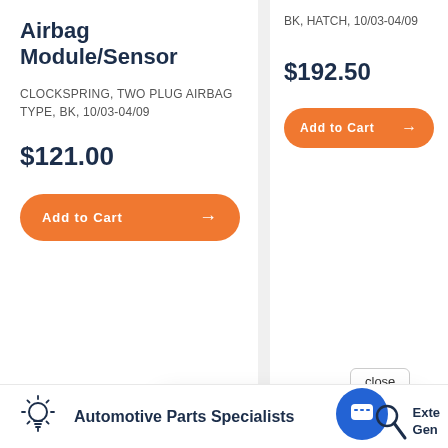Airbag Module/Sensor
CLOCKSPRING, TWO PLUG AIRBAG TYPE, BK, 10/03-04/09
$121.00
Add to Cart
BK, HATCH, 10/03-04/09
$192.50
Add to Cart
close
Hi there, have a question? Text us here.
Automotive Parts Specialists
Exte
Gen